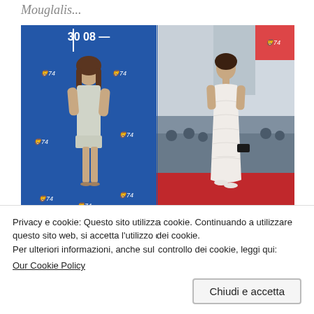Mouglalis...
[Figure (photo): Two side-by-side photos of a woman at the Venice Film Festival 74th edition. Left photo: woman in a short fringe tweed dress against a blue photocall backdrop with festival logos. Right photo: woman in a long white feather gown on a red carpet with photographers in the background.]
Privacy e cookie: Questo sito utilizza cookie. Continuando a utilizzare questo sito web, si accetta l'utilizzo dei cookie.
Per ulteriori informazioni, anche sul controllo dei cookie, leggi qui:
Our Cookie Policy
Chiudi e accetta